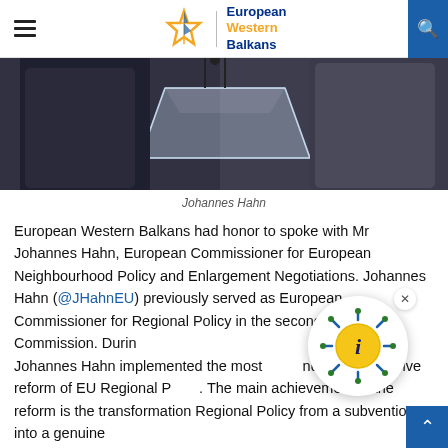European Western Balkans
[Figure (photo): Photo of Johannes Hahn speaking at a podium with a glass lectern and microphones]
Johannes Hahn
European Western Balkans had honor to spoke with Mr Johannes Hahn, European Commissioner for European Neighbourhood Policy and Enlargement Negotiations. Johannes Hahn (@JHahnEU) previously served as European Commissioner for Regional Policy in the second Barroso Commission. During [overlay] Johannes Hahn implemented the most [overlay] and comprehensive reform of EU Regional P[overlay]. The main achievement of the reform is the transformation Regional Policy from a subvention into a genuine